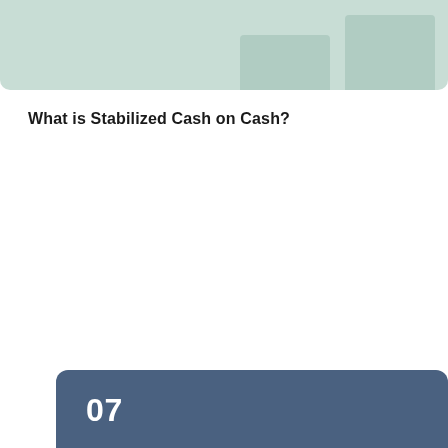[Figure (bar-chart): Partial bar chart visible at top of page with mint/green background and lighter green bars]
What is Stabilized Cash on Cash?
[Figure (infographic): Dark blue card with number 07, title 'What is the First Distribution Target Date?' and decorative bar chart elements in background]